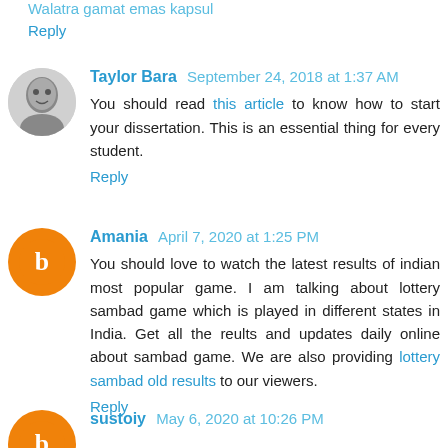Walatra gamat emas kapsul
Reply
Taylor Bara  September 24, 2018 at 1:37 AM
You should read this article to know how to start your dissertation. This is an essential thing for every student.
Reply
Amania  April 7, 2020 at 1:25 PM
You should love to watch the latest results of indian most popular game. I am talking about lottery sambad game which is played in different states in India. Get all the reults and updates daily online about sambad game. We are also providing lottery sambad old results to our viewers.
Reply
sustoiy  May 6, 2020 at 10:26 PM